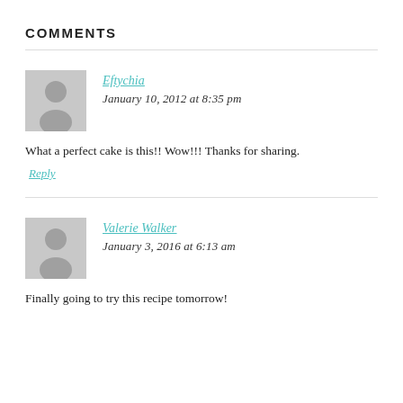COMMENTS
Eftychia says
January 10, 2012 at 8:35 pm
What a perfect cake is this!! Wow!!! Thanks for sharing.
Reply
Valerie Walker says
January 3, 2016 at 6:13 am
Finally going to try this recipe tomorrow!